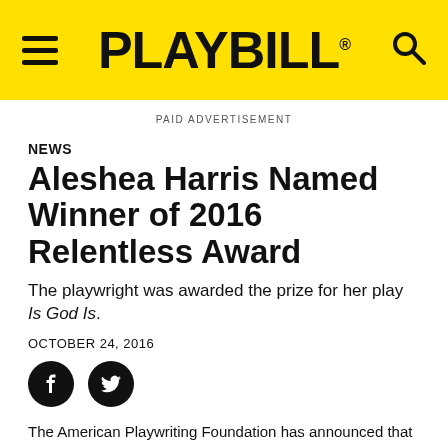PLAYBILL
PAID ADVERTISEMENT
NEWS
Aleshea Harris Named Winner of 2016 Relentless Award
The playwright was awarded the prize for her play Is God Is.
OCTOBER 24, 2016
[Figure (other): Social media share buttons: Facebook and Twitter icons]
The American Playwriting Foundation has announced that Aleshea Harris is the recipient of The 2016 Relentless